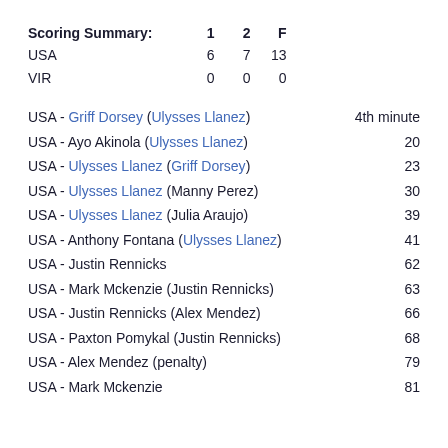| Scoring Summary: | 1 | 2 | F |
| --- | --- | --- | --- |
| USA | 6 | 7 | 13 |
| VIR | 0 | 0 | 0 |
USA - Griff Dorsey (Ulysses Llanez) 4th minute
USA - Ayo Akinola (Ulysses Llanez) 20
USA - Ulysses Llanez (Griff Dorsey) 23
USA - Ulysses Llanez (Manny Perez) 30
USA - Ulysses Llanez (Julia Araujo) 39
USA - Anthony Fontana (Ulysses Llanez) 41
USA - Justin Rennicks 62
USA - Mark Mckenzie (Justin Rennicks) 63
USA - Justin Rennicks (Alex Mendez) 66
USA - Paxton Pomykal (Justin Rennicks) 68
USA - Alex Mendez (penalty) 79
USA - Mark Mckenzie 81